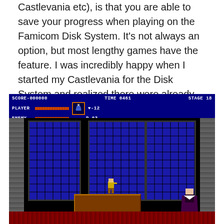Castlevania etc), is that you are able to save your progress when playing on the Famicom Disk System. It's not always an option, but most lengthy games have the feature. I was incredibly happy when I started my Castlevania for the Disk System and realized there were already saved files on there, and this one person had saved the game right before the Dracula battle! ^_^
[Figure (screenshot): NES/Famicom Disk System Castlevania screenshot showing HUD with SCORE-000000, TIME 0461, STAGE 18, PLAYER and ENEMY health bars, item flask, heart count -12, P-03, and game scene with blue lattice windows, pillars, a coffin/platform, Simon character in gold armor, and Dracula figure on the right, red floor at bottom.]